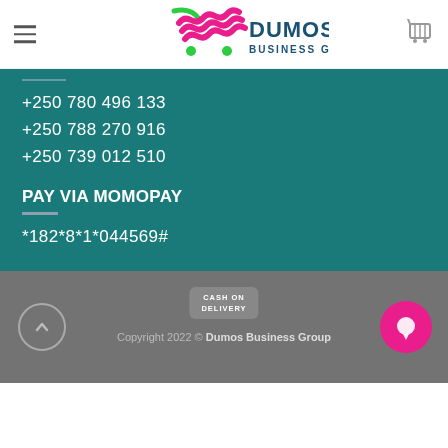[Figure (logo): Dumos Business Group logo with shopping cart icon and stylized cart graphic in pink and green]
+250 780 496 133
+250 788 270 916
+250 739 012 510
PAY VIA MOMOPAY
*182*8*1*044569#
Copyright 2022 © Dumos Business Group